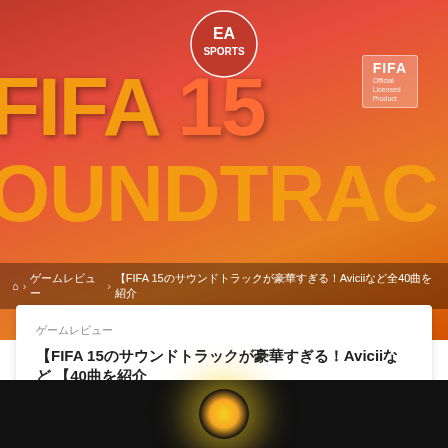[Figure (illustration): FIFA 15 Soundtrack promotional banner image with EA Sports logo, FIFA 15 title text in orange/yellow on red gradient background, and SOUNDTRACK text partially visible]
⌂ › ゲームレビュー › 【FIFA 15のサウンドトラックが豪華すぎる！Aviciiなど全40曲を紹介
ゲームレビュー
【FIFA 15のサウンドトラックが豪華すぎる！Aviciiなど 【40曲を紹介
by tanco (@t011org)  📅 2014.09.17  🔄 2019.02.26
[Figure (photo): Dark background with glowing light/spotlight effect at bottom of page]